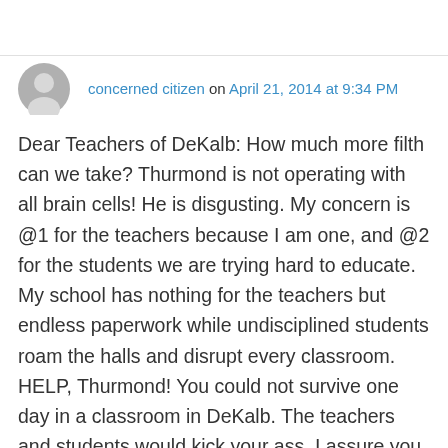concerned citizen on April 21, 2014 at 9:34 PM
Dear Teachers of DeKalb: How much more filth can we take? Thurmond is not operating with all brain cells! He is disgusting. My concern is @1 for the teachers because I am one, and @2 for the students we are trying hard to educate. My school has nothing for the teachers but endless paperwork while undisciplined students roam the halls and disrupt every classroom. HELP, Thurmond! You could not survive one day in a classroom in DeKalb. The teachers and students would kick your ass, I assure you.
👍 52 👎 5 ℹ Rate This